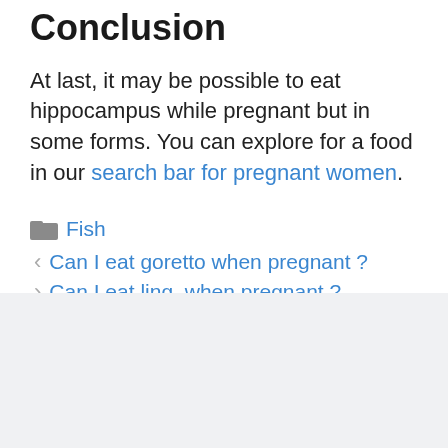Conclusion
At last, it may be possible to eat hippocampus while pregnant but in some forms. You can explore for a food in our search bar for pregnant women.
Fish
Can I eat goretto when pregnant ?
Can I eat ling  when pregnant ?